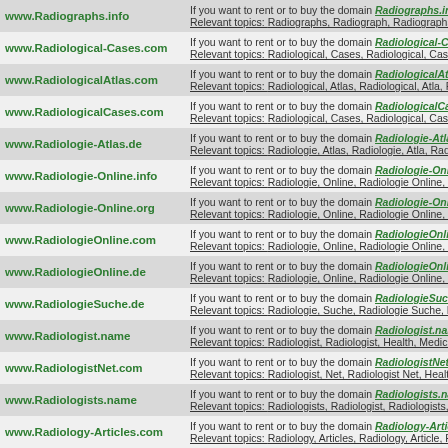| Domain | Description |
| --- | --- |
| www.Radiographs.info | If you want to rent or to buy the domain Radiographs.info ... Relevant topics: Radiographs, Radiograph, Radiographs, He... |
| www.Radiological-Cases.com | If you want to rent or to buy the domain Radiological-Cases.... Relevant topics: Radiological, Cases, Radiological, Case, Ra... |
| www.RadiologicalAtlas.com | If you want to rent or to buy the domain RadiologicalAtlas.c... Relevant topics: Radiological, Atlas, Radiological, Atla, Ra... |
| www.RadiologicalCases.com | If you want to rent or to buy the domain RadiologicalCases.... Relevant topics: Radiological, Cases, Radiological, Case, Ra... |
| www.Radiologie-Atlas.de | If you want to rent or to buy the domain Radiologie-Atlas.de... Relevant topics: Radiologie, Atlas, Radiologie, Atla, Radiolo... |
| www.Radiologie-Online.info | If you want to rent or to buy the domain Radiologie-Online.i... Relevant topics: Radiologie, Online, Radiologie Online, Hea... |
| www.Radiologie-Online.org | If you want to rent or to buy the domain Radiologie-Online.o... Relevant topics: Radiologie, Online, Radiologie Online, Hea... |
| www.RadiologieOnline.com | If you want to rent or to buy the domain RadiologieOnline.c... Relevant topics: Radiologie, Online, Radiologie Online, Hea... |
| www.RadiologieOnline.de | If you want to rent or to buy the domain RadiologieOnline.d... Relevant topics: Radiologie, Online, Radiologie Online, Hea... |
| www.RadiologieSuche.de | If you want to rent or to buy the domain RadiologieSuche.de... Relevant topics: Radiologie, Suche, Radiologie Suche, Educ... |
| www.Radiologist.name | If you want to rent or to buy the domain Radiologist.name th... Relevant topics: Radiologist, Radiologist, Health, Medical, R... |
| www.RadiologistNet.com | If you want to rent or to buy the domain RadiologistNet.com... Relevant topics: Radiologist, Net, Radiologist Net, Health, M... |
| www.Radiologists.name | If you want to rent or to buy the domain Radiologists.name ... Relevant topics: Radiologists, Radiologist, Radiologists, He... |
| www.Radiology-Articles.com | If you want to rent or to buy the domain Radiology-Articles.... Relevant topics: Radiology, Articles, Radiology, Article, Ra... |
| www.Radiology-Atlas.com | If you want to rent or to buy the domain Radiology-Atlas.co... Relevant topics: Radiology, Atlas, Radiology, Atla, Radiolog... |
| www.Radiology-Blog.com | If you want to rent or to buy the domain Radiology-Blog.co... Relevant topics: Radiology, Blog, Radiology Blog, Educatio... |